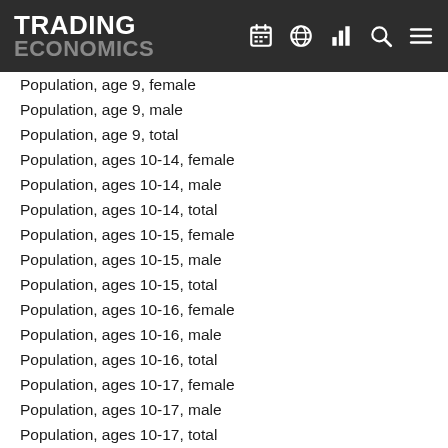TRADING ECONOMICS
Population, age 9, female
Population, age 9, male
Population, age 9, total
Population, ages 10-14, female
Population, ages 10-14, male
Population, ages 10-14, total
Population, ages 10-15, female
Population, ages 10-15, male
Population, ages 10-15, total
Population, ages 10-16, female
Population, ages 10-16, male
Population, ages 10-16, total
Population, ages 10-17, female
Population, ages 10-17, male
Population, ages 10-17, total
Population, ages 10-18, female
Population, ages 10-18, male
Population, ages 10-18, total
Population, ages 11-15, female